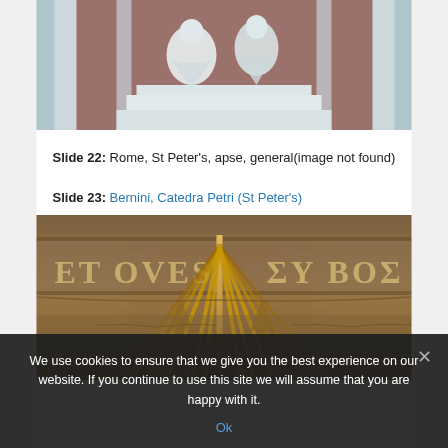[Figure (photo): Partial view of classical marble sculpture/statues in an architectural setting, cropped at top]
Slide 22: Rome, St Peter's, apse, general(image not found)
Slide 23: Bernini, Catedra Petri (St Peter's)
[Figure (photo): Bernini's Cathedra Petri at St Peter's Basilica, Rome — showing gilded bronze sunburst rays and inscribed stone frieze with Latin/Greek text 'ET OVES' and 'ΣΥ ΒΟΣ']
We use cookies to ensure that we give you the best experience on our website. If you continue to use this site we will assume that you are happy with it.
Ok